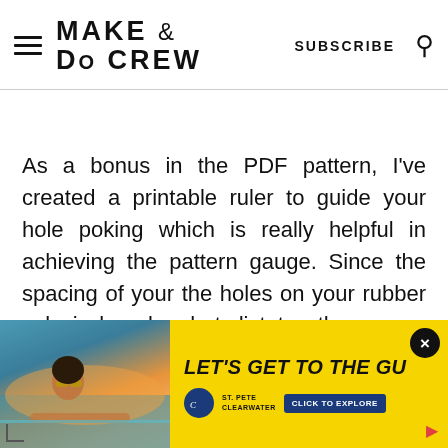MAKE & DO CREW — SUBSCRIBE
As a bonus in the PDF pattern, I've created a printable ruler to guide your hole poking which is really helpful in achieving the pattern gauge. Since the spacing of your the holes on your rubber sole is largely what dictates the gauge, having a guide
[Figure (photo): Advertisement banner with yellow background showing a woman with sunglasses resting by a pool at sunset, with text "LET'S GET TO THE GU" and St. Pete Clearwater logo with CLICK TO EXPLORE button]